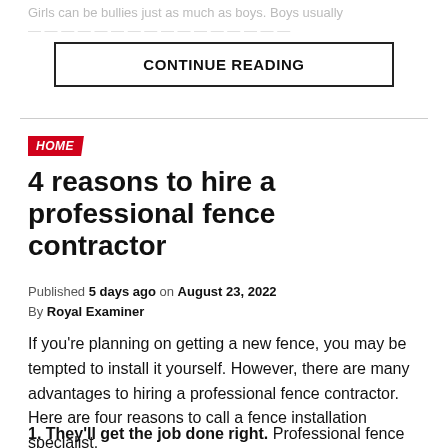Girls can be bullies just as much as boys. Boys usually...
CONTINUE READING
HOME
4 reasons to hire a professional fence contractor
Published 5 days ago on August 23, 2022
By Royal Examiner
If you're planning on getting a new fence, you may be tempted to install it yourself. However, there are many advantages to hiring a professional fence contractor. Here are four reasons to call a fence installation specialist.
1. They'll get the job done right. Professional fence...